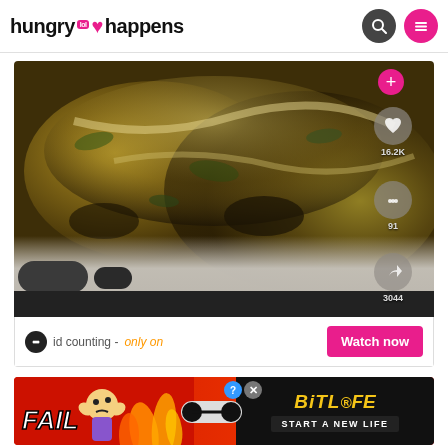hungry happens
[Figure (screenshot): TikTok video screenshot showing a baked cheesy dish in a white casserole dish, with TikTok engagement buttons on the right showing 16.2K likes, 91 comments, and 3044 shares. A plus button appears at top right.]
id counting - only on
Watch now
[Figure (screenshot): Advertisement banner for BitLife game with red background showing FAIL text, cartoon character, flames, and 'START A NEW LIFE' text on black background.]